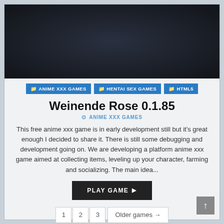[Figure (photo): Dark background image / game preview placeholder]
ANIME XXX GAMES   HENTAI SEX GAMES   HTML5
Weinende Rose 0.1.85
ANIME XXX GAMES
This free anime xxx game is in early development still but it's great enough I decided to share it. There is still some debugging and development going on. We are developing a platform anime xxx game aimed at collecting items, leveling up your character, farming and socializing. The main idea...
PLAY GAME ▶
1   2   3   Older games →